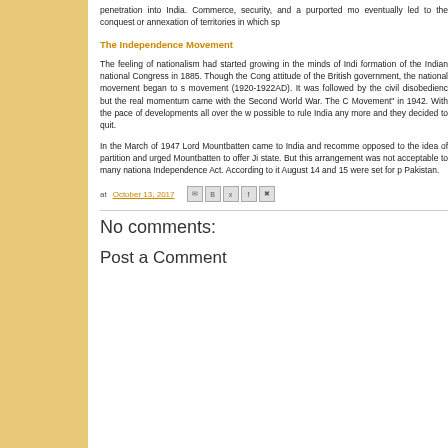penetration into India. Commerce, security, and a purported mo eventually led to the conquest or annexation of territories in which sp
The Independence Movement
The feeling of nationalism had started growing in the minds of Indi formation of the Indian national Congress in 1885. Though the Cong attitude of the British government, the national movement began to s movement (1920-1922AD). It was followed by the civil disobedienc but the real momentum came with the Second World War. The C Movement" in 1942. With the pace of developments all over the w possible to rule India any more and they decided to quit.
In the March of 1947 Lord Mountbatten came to India and recomme opposed to the idea of partition and urged Mountbatten to offer Ji state. But this arrangement was not acceptable to many nationa Independence Act. According to it August 14 and 15 were set for p Pakistan.
at October 13, 2017
No comments:
Post a Comment